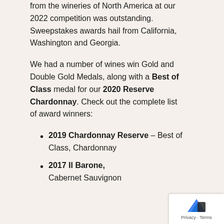from the wineries of North America at our 2022 competition was outstanding. Sweepstakes awards hail from California, Washington and Georgia.
We had a number of wines win Gold and Double Gold Medals, along with a Best of Class medal for our 2020 Reserve Chardonnay. Check out the complete list of award winners:
2019 Chardonnay Reserve – Best of Class, Chardonnay
2017 Il Barone, Cabernet Sauvignon